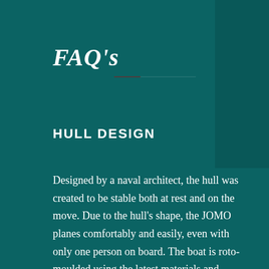FAQ's
HULL DESIGN
Designed by a naval architect, the hull was created to be stable both at rest and on the move. Due to the hull's shape, the JOMO planes comfortably and easily, even with only one person on board. The boat is roto-moulded using the latest materials and techniques. This creates a double skin that makes level